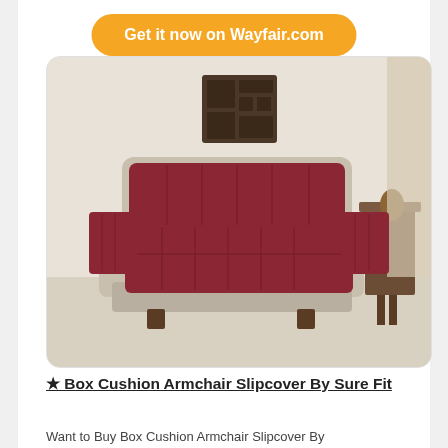Get it now on Wayfair.com
[Figure (photo): A cream-colored armchair with a burgundy/dark red box cushion slipcover covering the seat, back, and armrests. The chair is photographed in a light-colored room with a decorative dark wood wall panel visible in the background and a wooden side table to the right.]
★ Box Cushion Armchair Slipcover By Sure Fit
Want to Buy Box Cushion Armchair Slipcover By